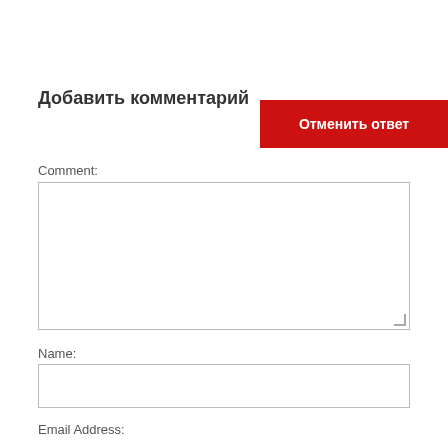Добавить комментарий
Отменить ответ
Comment:
Name:
Email Address: